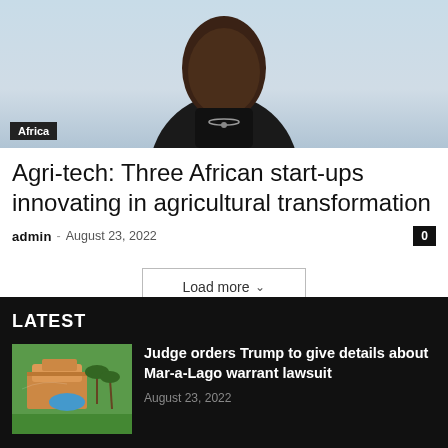[Figure (photo): Portrait photo of a man in a black outfit against a light blue/grey background]
Africa
Agri-tech: Three African start-ups innovating in agricultural transformation
admin – August 23, 2022
Load more
LATEST
[Figure (photo): Aerial view of Mar-a-Lago estate with pool and tropical surroundings]
Judge orders Trump to give details about Mar-a-Lago warrant lawsuit
August 23, 2022